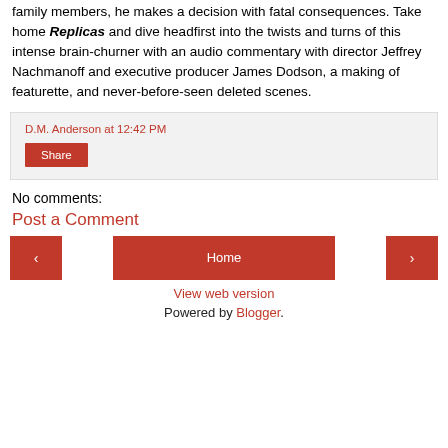family members, he makes a decision with fatal consequences. Take home Replicas and dive headfirst into the twists and turns of this intense brain-churner with an audio commentary with director Jeffrey Nachmanoff and executive producer James Dodson, a making of featurette, and never-before-seen deleted scenes.
D.M. Anderson at 12:42 PM
Share
No comments:
Post a Comment
‹  Home  ›
View web version
Powered by Blogger.